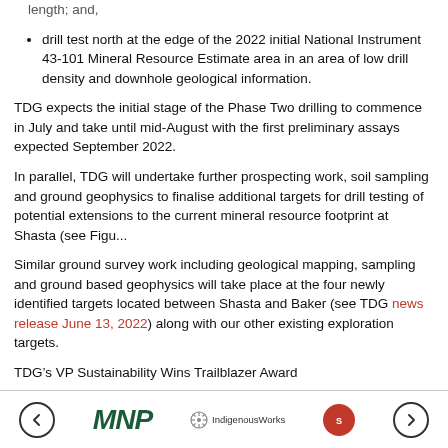length; and,
drill test north at the edge of the 2022 initial National Instrument 43-101 Mineral Resource Estimate area in an area of low drill density and downhole geological information.
TDG expects the initial stage of the Phase Two drilling to commence in July and take until mid-August with the first preliminary assays expected September 2022.
In parallel, TDG will undertake further prospecting work, soil sampling and ground geophysics to finalise additional targets for drill testing of potential extensions to the current mineral resource footprint at Shasta (see Figu...
Similar ground survey work including geological mapping, sampling and ground based geophysics will take place at the four newly identified targets located between Shasta and Baker (see TDG news release June 13, 2022) along with our other existing exploration targets.
TDG’s VP Sustainability Wins Trailblazer Award
TDG would like to congratulate Christy Smith, TDG’s Vice President Sustainability, for receiving the Women in Mining Canada 2022 Indigenous...
[Figure (logo): Footer navigation bar with left arrow, MNP logo, IndigenousWorks logo, a red circular badge, and right arrow]